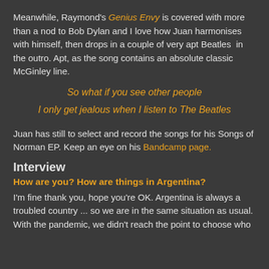Meanwhile, Raymond's Genius Envy is covered with more than a nod to Bob Dylan and I love how Juan harmonises with himself, then drops in a couple of very apt Beatles in the outro. Apt, as the song contains an absolute classic McGinley line.
So what if you see other people
I only get jealous when I listen to The Beatles
Juan has still to select and record the songs for his Songs of Norman EP. Keep an eye on his Bandcamp page.
Interview
How are you? How are things in Argentina?
I'm fine thank you, hope you're OK. Argentina is always a troubled country ... so we are in the same situation as usual. With the pandemic, we didn't reach the point to choose who